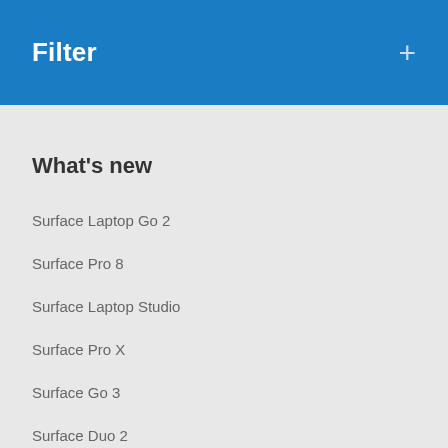Filter +
What's new
Surface Laptop Go 2
Surface Pro 8
Surface Laptop Studio
Surface Pro X
Surface Go 3
Surface Duo 2
Surface Pro 7+
Windows 11 apps